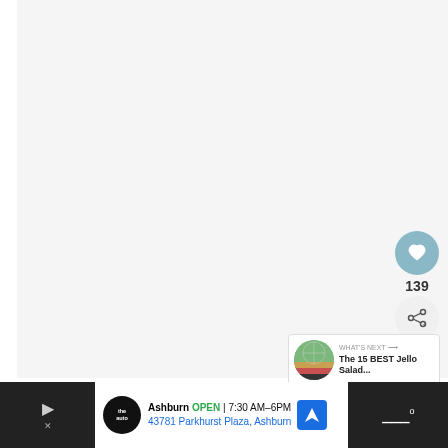[Figure (screenshot): Large blank/white image area taking up most of the page, part of a web article page with social interaction buttons (heart/like button showing 139 likes, share button) and a 'What's Next' recommendation showing 'The 15 BEST Jello Salad...']
Regardless of whether or not it’s summertime, it’s
[Figure (screenshot): Advertisement banner: Ashburn OPEN 7:30AM-6PM, 43781 Parkhurst Plaza, Ashburn - The Auto store ad with navigation icon]